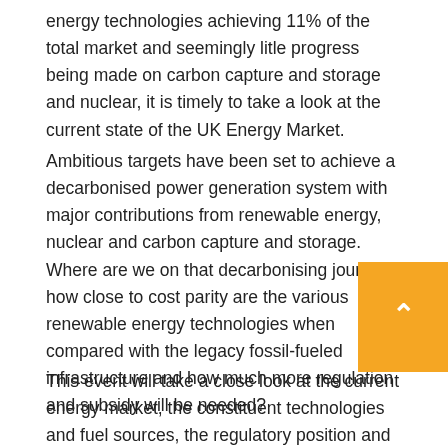energy technologies achieving 11% of the total market and seemingly litle progress being made on carbon capture and storage and nuclear, it is timely to take a look at the current state of the UK Energy Market.
Ambitious targets have been set to achieve a decarbonised power generation system with major contributions from renewable energy, nuclear and carbon capture and storage. Where are we on that decarbonising journey, how close to cost parity are the various renewable energy technologies when compared with the legacy fossil-fueled infrastructure and how much more regulation and subsidy will be needed?
This event will take a close look at the current energy market, the constituent technologies and fuel sources, the regulatory position and the energy...